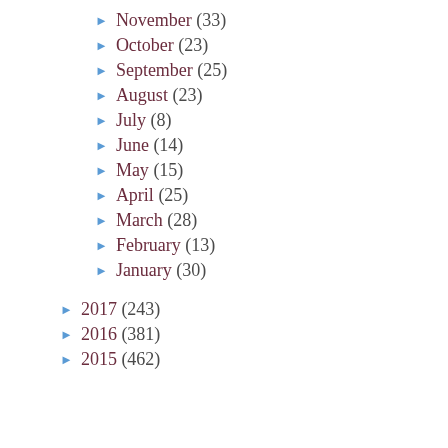November (33)
October (23)
September (25)
August (23)
July (8)
June (14)
May (15)
April (25)
March (28)
February (13)
January (30)
2017 (243)
2016 (381)
2015 (462)